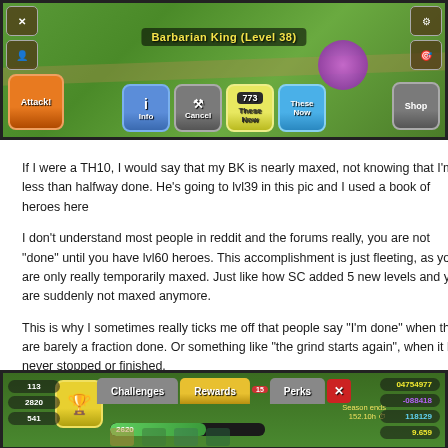[Figure (screenshot): Clash of Clans game screenshot showing Barbarian King (Level 38) upgrade interface with Info, Cancel, These Now buttons and game base in background]
If I were a TH10, I would say that my BK is nearly maxed, not knowing that I'm less than halfway done. He's going to lvl39 in this pic and I used a book of heroes here
I don't understand most people in reddit and the forums really, you are not "done" until you have lvl60 heroes. This accomplishment is just fleeting, as you are only really temporarily maxed. Just like how SC added 5 new levels and you are suddenly not maxed anymore.
This is why I sometimes really ticks me off that people say “I’m done” when they are barely a fraction done. Or something like “the grind starts again”, when it has never stopped or finished.
[Figure (screenshot): Clash of Clans season challenges screen showing Challenges, Rewards (selected/highlighted), Perks tabs and progress bar with 2620 points]